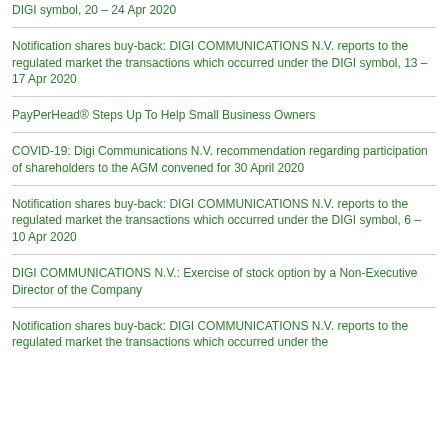DIGI symbol, 20 – 24 Apr 2020
Notification shares buy-back: DIGI COMMUNICATIONS N.V. reports to the regulated market the transactions which occurred under the DIGI symbol, 13 – 17 Apr 2020
PayPerHead® Steps Up To Help Small Business Owners
COVID-19: Digi Communications N.V. recommendation regarding participation of shareholders to the AGM convened for 30 April 2020
Notification shares buy-back: DIGI COMMUNICATIONS N.V. reports to the regulated market the transactions which occurred under the DIGI symbol, 6 – 10 Apr 2020
DIGI COMMUNICATIONS N.V.: Exercise of stock option by a Non-Executive Director of the Company
Notification shares buy-back: DIGI COMMUNICATIONS N.V. reports to the regulated market the transactions which occurred under the